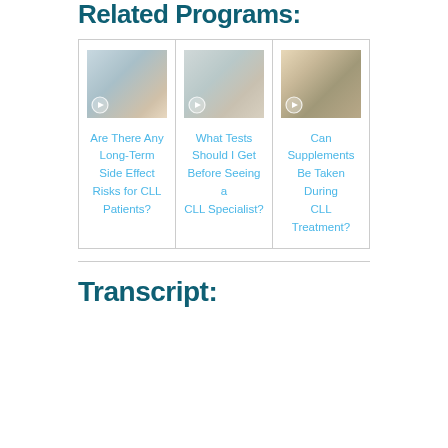Related Programs:
[Figure (photo): Three-column card layout with photos and links. Card 1: pharmacy photo showing two women at a pharmacy counter, with play icon. Card 2: lab photo showing a researcher looking through a microscope, with play icon. Card 3: supplements photo showing green herbal pills spilling from an amber bottle onto wooden spoons, with play icon.]
Are There Any Long-Term Side Effect Risks for CLL Patients?
What Tests Should I Get Before Seeing a CLL Specialist?
Can Supplements Be Taken During CLL Treatment?
Transcript: